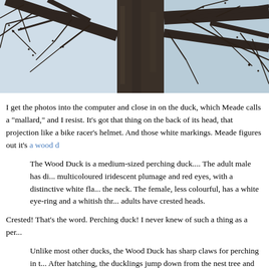[Figure (photo): Photograph looking up at bare winter tree branches with a large dark tree trunk in center against a pale sky]
I get the photos into the computer and close in on the duck, which Meade calls a "mallard," and I resist. It's got that thing on the back of its head, that projection like a bike racer's helmet. And those white markings. Meade figures out it's a wood d...
The Wood Duck is a medium-sized perching duck.... The adult male has di... multicoloured iridescent plumage and red eyes, with a distinctive white fla... the neck. The female, less colourful, has a white eye-ring and a whitish thr... adults have crested heads.
Crested! That's the word. Perching duck! I never knew of such a thing as a per...
Unlike most other ducks, the Wood Duck has sharp claws for perching in t... After hatching, the ducklings jump down from the nest tree and make their... water. The mother calls them to her, but does not help them in any way. Th...